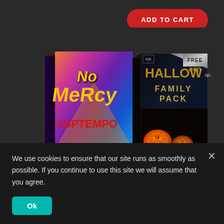[Figure (illustration): E-commerce page showing two music sample pack product boxes. Left box: 'No Mercy #Uptempo Kicks Only' with colorful psychedelic design. Right box: 'Halloween Family Pack' with dark gothic design and FREE banner. An 'ADD TO CART' red button is visible at top right.]
We use cookies to ensure that our site runs as smoothly as possible. If you continue to use this site we will assume that you agree.
Ok